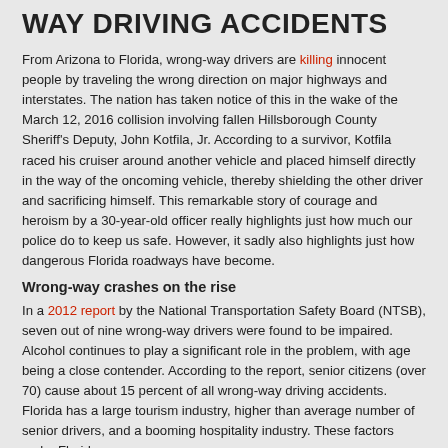WAY DRIVING ACCIDENTS
From Arizona to Florida, wrong-way drivers are killing innocent people by traveling the wrong direction on major highways and interstates. The nation has taken notice of this in the wake of the March 12, 2016 collision involving fallen Hillsborough County Sheriff's Deputy, John Kotfila, Jr. According to a survivor, Kotfila raced his cruiser around another vehicle and placed himself directly in the way of the oncoming vehicle, thereby shielding the other driver and sacrificing himself. This remarkable story of courage and heroism by a 30-year-old officer really highlights just how much our police do to keep us safe. However, it sadly also highlights just how dangerous Florida roadways have become.
Wrong-way crashes on the rise
In a 2012 report by the National Transportation Safety Board (NTSB), seven out of nine wrong-way drivers were found to be impaired. Alcohol continues to play a significant role in the problem, with age being a close contender. According to the report, senior citizens (over 70) cause about 15 percent of all wrong-way driving accidents.  Florida has a large tourism industry, higher than average number of senior drivers, and a booming hospitality industry. These factors make Florida